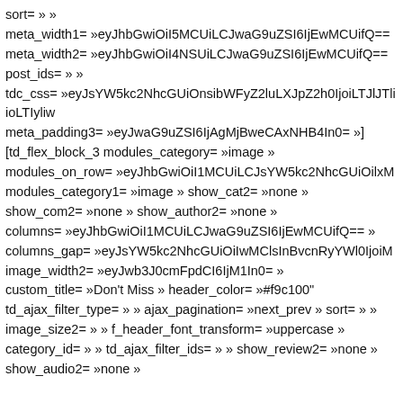sort= » »
meta_width1= »eyJhbGwiOiI5MCUiLCJwaG9uZSI6IjEwMCUifQ==
meta_width2= »eyJhbGwiOiI4NSUiLCJwaG9uZSI6IjEwMCUifQ==
post_ids= » »
tdc_css= »eyJsYW5kc2NhcGUiOnsibWFyZ2luLXJpZ2h0IjoiLTJlJTliioLTIyliw
meta_padding3= »eyJwaG9uZSI6IjAgMjBweCAxNHB4In0= »]
[td_flex_block_3 modules_category= »image »
modules_on_row= »eyJhbGwiOiI1MCUiLCJsYW5kc2NhcGUiOilxM
modules_category1= »image » show_cat2= »none »
show_com2= »none » show_author2= »none »
columns= »eyJhbGwiOiI1MCUiLCJwaG9uZSI6IjEwMCUifQ== »
columns_gap= »eyJsYW5kc2NhcGUiOiIwMClsInBvcnRyYWl0IjoiM
image_width2= »eyJwb3J0cmFpdCI6IjM1In0= »
custom_title= »Don't Miss » header_color= »#f9c100"
td_ajax_filter_type= » » ajax_pagination= »next_prev » sort= » »
image_size2= » » f_header_font_transform= »uppercase »
category_id= » » td_ajax_filter_ids= » » show_review2= »none »
show_audio2= »none »